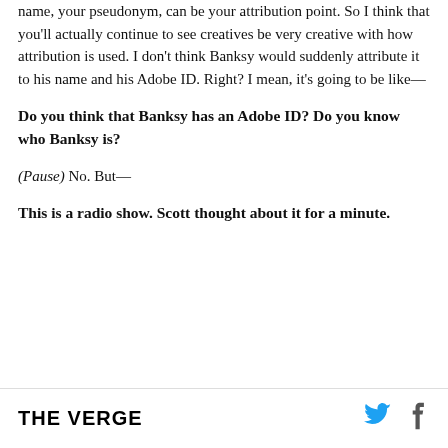name, your pseudonym, can be your attribution point. So I think that you'll actually continue to see creatives be very creative with how attribution is used. I don't think Banksy would suddenly attribute it to his name and his Adobe ID. Right? I mean, it's going to be like—
Do you think that Banksy has an Adobe ID? Do you know who Banksy is?
(Pause) No. But—
This is a radio show. Scott thought about it for a minute.
THE VERGE